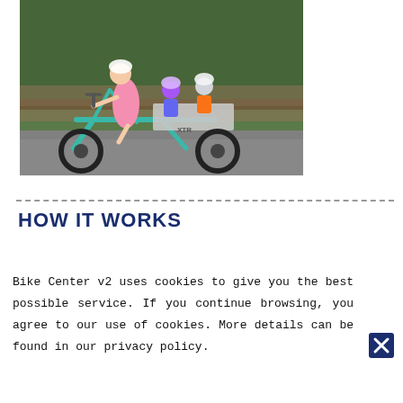[Figure (photo): A woman in a pink dress and white helmet rides a teal cargo bicycle (branded XTR) carrying two young children in helmets seated on rear seats, on a paved path with trees in the background.]
HOW IT WORKS
Bike Center v2 uses cookies to give you the best possible service. If you continue browsing, you agree to our use of cookies. More details can be found in our privacy policy.